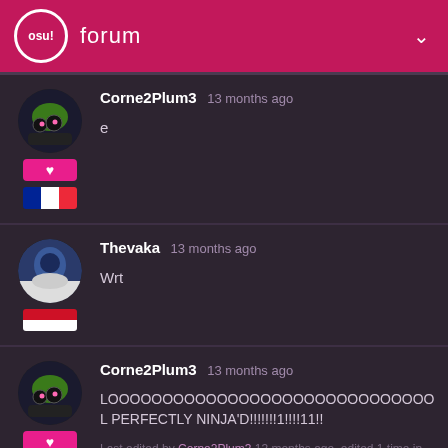osu! forum
Corne2Plum3 13 months ago
e
Thevaka 13 months ago
Wrt
Corne2Plum3 13 months ago
LOOOOOOOOOOOOOOOOOOOOOOOOOOOOOL PERFECTLY NINJA'D!!!!!!!1!!!!11!!

Last edited by Corne2Plum3 13 months ago, edited 1 time in total.
40,926 / 57,446